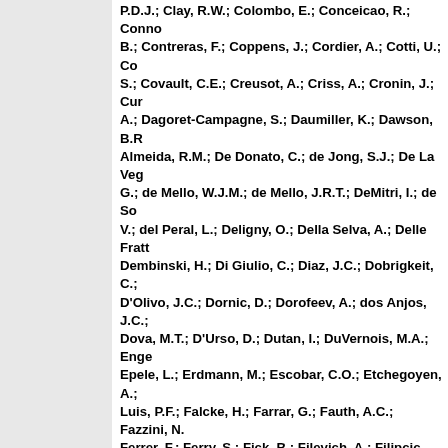P.D.J.; Clay, R.W.; Colombo, E.; Conceicao, R.; Conno B.; Contreras, F.; Coppens, J.; Cordier, A.; Cotti, U.; Co S.; Covault, C.E.; Creusot, A.; Criss, A.; Cronin, J.; Cur A.; Dagoret-Campagne, S.; Daumiller, K.; Dawson, B.R Almeida, R.M.; De Donato, C.; de Jong, S.J.; De La Veg G.; de Mello, W.J.M.; de Mello, J.R.T.; DeMitri, I.; de So V.; del Peral, L.; Deligny, O.; Della Selva, A.; Delle Fratt Dembinski, H.; Di Giulio, C.; Diaz, J.C.; Dobrigkeit, C.; D'Olivo, J.C.; Dornic, D.; Dorofeev, A.; dos Anjos, J.C.; Dova, M.T.; D'Urso, D.; Dutan, I.; DuVernois, M.A.; Enge Epele, L.; Erdmann, M.; Escobar, C.O.; Etchegoyen, A. Luis, P.F.; Falcke, H.; Farrar, G.; Fauth, A.C.; Fazzini, N. Ferrer, F.; Ferry, S.; Fick, B.; Filevich, A.; Filipcic, A.; Fl I.; Fonte, R.; Fracchiolla, C.E.; Fulgione, W.; Garcia, B.; Gamez, D.G.; Garcia-Pinto, D.; Garrido, X.; Geenen, H.; Gelmini, G.; Gemmeke, H.; Ghia, P.L.; Giller, M.; Glass, Gold, M.S.; Golup, G.; Albarracin, F.G.; Berisso, M.G.; Herrero, R.G.; Goncalves, P.; do Amaral, M.G.; Gonzale Gonzalez, J.G.; Gonzalez, M.; Gora, D.; Gorgi, A.; Gouf P.; Grassi, V.; Grillo, A.F.; Grunfeld, C.; Guardincerri, Y. Guarino, F.; Guedes, G.P.; Gutierrez, J.; Hague, J.D.; Hamilton, J.C.; Hansen, P.; Harari, D.; Harmsma, S.; Ha J.L.; Haungs, A.; Hauschildt, T.; Healy, M.D.; Hebbeker, Hebrero, G.; Heck, D.; Hojvat, C.; Holmes, V.C.; Homola Horandel, J.; Horneffer, A.; Horvat, M.; Hrabovsky, M.; Huege, T.; Hussain, M.; Iarlori, M.; Insolia, A.; Ionita, F.; Italiano, A.; Kaducak, M.; Kampert, K.H.; Karova, T.; Ke B.; Keilhauer, B.; Kemp, E.; Kieckhafer, R.M.; Klages, H Kleifges, M.; Kleinfeller, J.; Knapik, R.; Knapp, J.; Koam D.H.; Krieger, A.; Kromer, O.; Kuempel, D.; Kunka, N.; Kuntke, A.; La Rosa, G.; L...